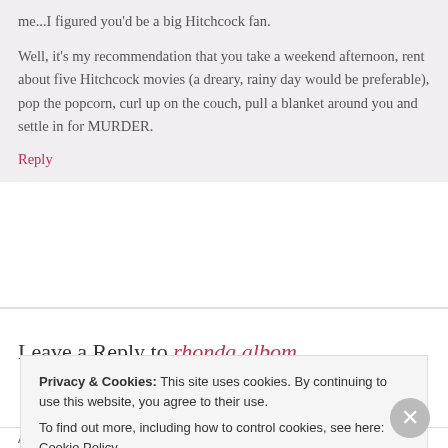me...I figured you'd be a big Hitchcock fan.
Well, it's my recommendation that you take a weekend afternoon, rent about five Hitchcock movies (a dreary, rainy day would be preferable), pop the popcorn, curl up on the couch, pull a blanket around you and settle in for MURDER.
Reply
Leave a Reply to rhonda albom
Privacy & Cookies: This site uses cookies. By continuing to use this website, you agree to their use. To find out more, including how to control cookies, see here: Cookie Policy
Close and accept
Advertisements